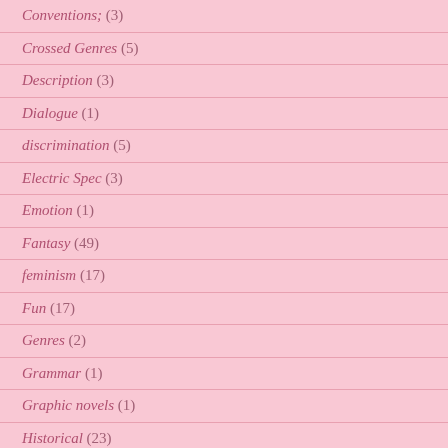Conventions; (3)
Crossed Genres (5)
Description (3)
Dialogue (1)
discrimination (5)
Electric Spec (3)
Emotion (1)
Fantasy (49)
feminism (17)
Fun (17)
Genres (2)
Grammar (1)
Graphic novels (1)
Historical (23)
Horror (22)